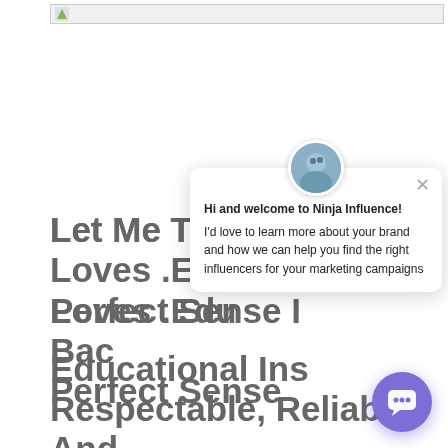[Figure (logo): Small logo/favicon image in a browser-bar style strip at the top]
Let Me Tell You Why Google Loves .Edu Backlinks… And Why It Makes Perfect Sense If You Think About It:

Educational Institutions Are Respectable, Reliable, And Authoritative, So Any Link Coming From Them Will Boost Your Rankings Instantly.
[Figure (screenshot): Chat popup from Ninja Influence with avatar photo and message: 'Hi and welcome to Ninja Influence! I'd love to learn more about your brand and how we can help you find the right influencers for your marketing campaigns']
[Figure (illustration): Purple circular chat button with speech bubble icon in bottom right corner]